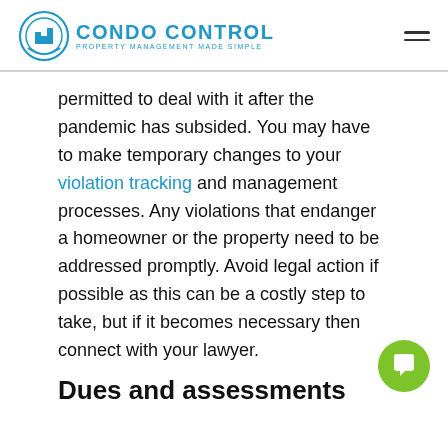CONDO CONTROL — PROPERTY MANAGEMENT MADE SIMPLE
permitted to deal with it after the pandemic has subsided. You may have to make temporary changes to your violation tracking and management processes. Any violations that endanger a homeowner or the property need to be addressed promptly. Avoid legal action if possible as this can be a costly step to take, but if it becomes necessary then connect with your lawyer.
Dues and assessments